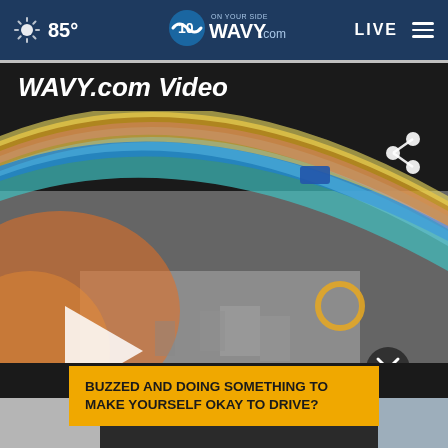85° WAVY.com ON YOUR SIDE LIVE
WAVY.com Video
[Figure (screenshot): Video player thumbnail showing a beach/outdoor scene with iridescent curved light effect, play button overlay and share icon]
BUZZED AND DOING SOMETHING TO MAKE YOURSELF OKAY TO DRIVE?